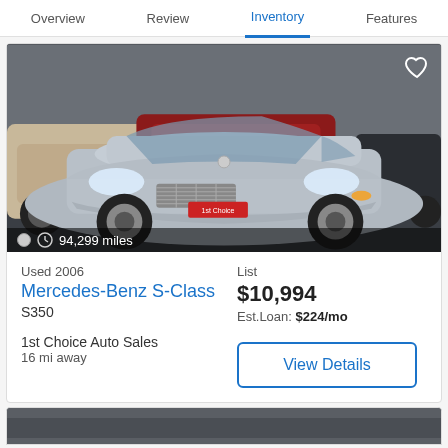Overview  Review  Inventory  Features
[Figure (photo): Silver 2006 Mercedes-Benz S-Class S350 parked in a lot, front three-quarter view. Other cars visible in the background. Red dealer plate. Odometer reads 94,299 miles shown in overlay bar.]
Used 2006
Mercedes-Benz S-Class
S350
List
$10,994
Est.Loan: $224/mo
1st Choice Auto Sales
16 mi away
View Details
[Figure (photo): Partial view of another vehicle listing below, mostly cropped out.]